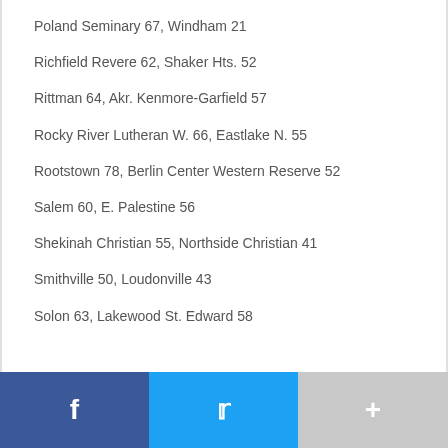Poland Seminary 67, Windham 21
Richfield Revere 62, Shaker Hts. 52
Rittman 64, Akr. Kenmore-Garfield 57
Rocky River Lutheran W. 66, Eastlake N. 55
Rootstown 78, Berlin Center Western Reserve 52
Salem 60, E. Palestine 56
Shekinah Christian 55, Northside Christian 41
Smithville 50, Loudonville 43
Solon 63, Lakewood St. Edward 58
Facebook | Twitter | More